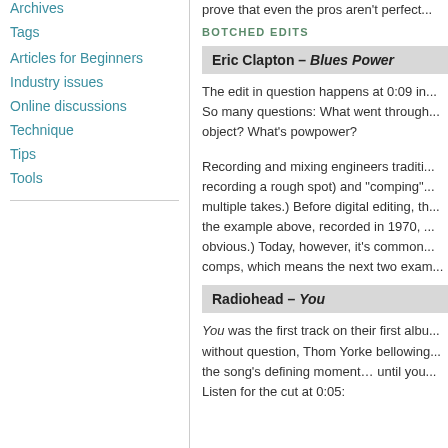Archives
Tags
Articles for Beginners
Industry issues
Online discussions
Technique
Tips
Tools
prove that even the pros aren't perfect...
BOTCHED EDITS
Eric Clapton – Blues Power
The edit in question happens at 0:09 in... So many questions: What went through... object? What's powpower?
Recording and mixing engineers traditionally... recording a rough spot) and "comping"... multiple takes.) Before digital editing, the example above, recorded in 1970,... obvious.) Today, however, it's common... comps, which means the next two exam...
Radiohead – You
You was the first track on their first albu... without question, Thom Yorke bellowing... the song's defining moment… until you... Listen for the cut at 0:05: